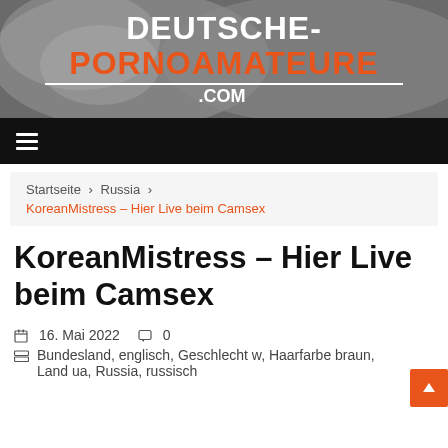[Figure (logo): Website header banner with grayscale woman photo and text 'DEUTSCHE-PORNOAMATEURE.COM']
Navigation bar with hamburger menu icon
Startseite > Russia > KoreanMistress – Hier Live beim Camsex
KoreanMistress – Hier Live beim Camsex
16. Mai 2022  0
Bundesland, englisch, Geschlecht w, Haarfarbe braun, Land ua, Russia, russisch